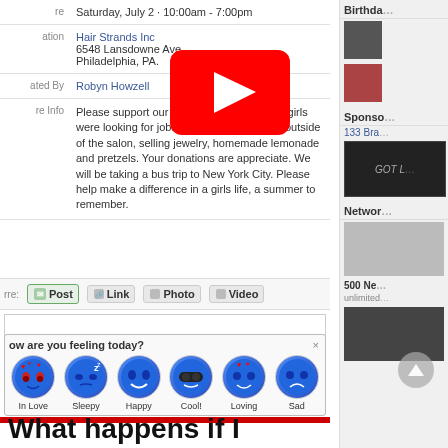| Field | Value |
| --- | --- |
| re | Saturday, July 2 · 10:00am - 7:00pm |
| ation | Hair Strands Inc
6548 Lansdowne Ave.
Philadelphia, PA. |
| ated By | Robyn Howzell |
| re Info | Please support our girls group. Four young girls were looking for jobs. They will be working outside of the salon, selling jewelry, homemade lemonade and pretzels. Your donations are appreciate. We will be taking a bus trip to New York City. Please help make a difference in a girls life, a summer to remember. |
[Figure (screenshot): YouTube play button overlay on the event listing]
re: Post Link Photo Video
[Figure (screenshot): How are you feeling today? dialog with emoji options: In Love, Sleepy, Happy, Cool!, Loving, Sad]
What happens if I decline a group invitation on Facebook?